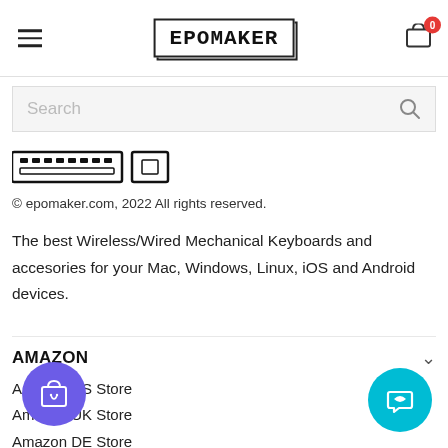EPOMAKER — navigation header with hamburger menu, logo, and cart icon (0 items)
Search
[Figure (logo): Epomaker logo strip with keyboard key icons]
© epomaker.com, 2022 All rights reserved.
The best Wireless/Wired Mechanical Keyboards and accesories for your Mac, Windows, Linux, iOS and Android devices.
AMAZON
Amazon US Store
Amazon UK Store
Amazon DE Store